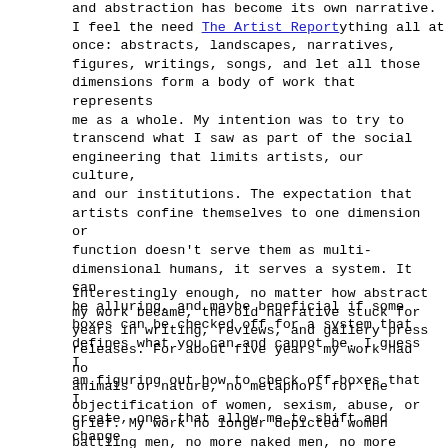The Artist Report
and abstraction has become its own narrative. I feel the need to be everything all at once: abstracts, landscapes, narratives, figures, writings, songs, and let all those dimensions form a body of work that represents me as a whole. My intention was to try to transcend what I saw as part of the social engineering that limits artists, our culture, and our institutions. The expectation that artists confine themselves to one dimension or function doesn't serve them as multi-dimensional humans, it serves a system. It can be alluring, and maybe beneficial if some boxes can be checked off for a system that defines what you can and cannot be. I guess I am figuring out how to check off boxes that I create, ones that allow me to shift and change as a multi-dimensional human.
Interestingly enough, no matter how abstract my work became, the old narrative stuck for years in writing, reviews, and gallery press releases. For about five years my work had no animals or nature, no metaphors for the objectification of women, sexism, abuse, or grief. My work no longer depicted women battling men, no more naked men, no more humor, there was no more figuration, there was no more mythology, there was no more...